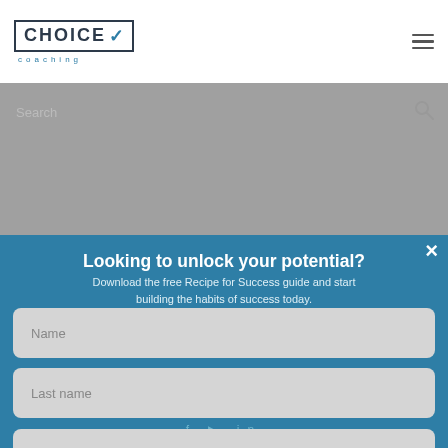[Figure (logo): Choice Coaching logo with bordered text and checkmark]
Looking to unlock your potential?
Download the free Recipe for Success guide and start building the habits of success today.
Name
Last name
Email
DOWNLOAD
You are awesome.
No thanks, I'm not interested